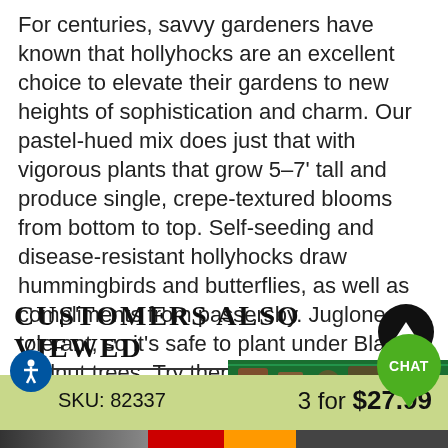For centuries, savvy gardeners have known that hollyhocks are an excellent choice to elevate their gardens to new heights of sophistication and charm. Our pastel-hued mix does just that with vigorous plants that grow 5–7' tall and produce single, crepe-textured blooms from bottom to top. Self-seeding and disease-resistant hollyhocks draw hummingbirds and butterflies, as well as compliments from passersby. Juglone tolerant, so it's safe to plant under Black Walnut trees. Try them in foundation beds, along a sunny fence line or in a mixed cutting garden.
CUSTOMERS ALSO VIEWED
SKU: 82337   3 for $27.99
Out Of Season